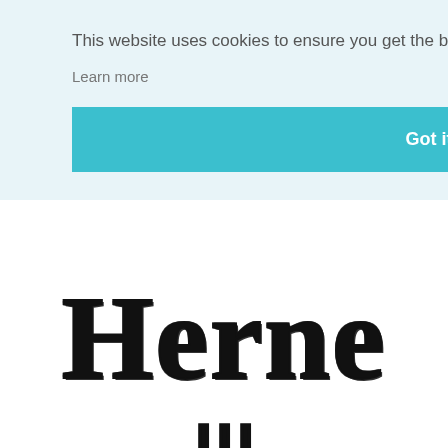This website uses cookies to ensure you get the best experience on our website.
Learn more
Got it!
[Figure (logo): Herne logo text in large decorative blackletter/serif font, partially visible at bottom of page]